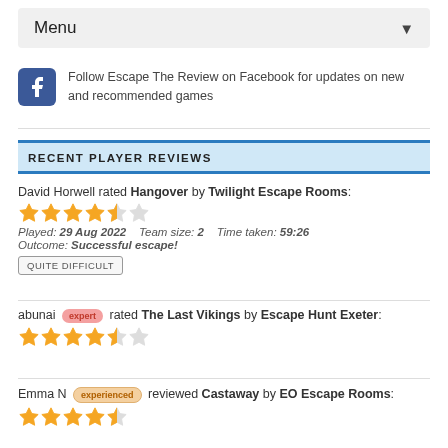Menu ▾
Follow Escape The Review on Facebook for updates on new and recommended games
RECENT PLAYER REVIEWS
David Horwell rated Hangover by Twilight Escape Rooms:
★★★★½ (4.5 stars)
Played: 29 Aug 2022   Team size: 2   Time taken: 59:26
Outcome: Successful escape!
QUITE DIFFICULT
abunai [expert] rated The Last Vikings by Escape Hunt Exeter:
★★★★½ (4.5 stars)
Emma N [experienced] reviewed Castaway by EO Escape Rooms:
★★★★½ (4.5 stars)